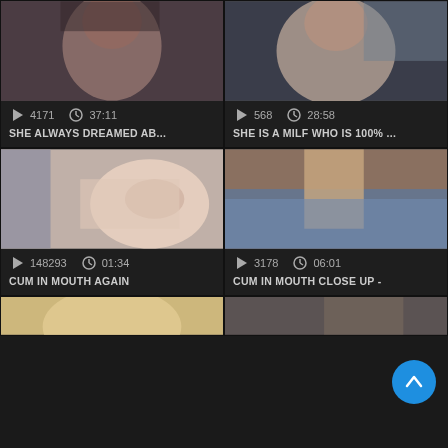[Figure (screenshot): Video thumbnail top-left: woman with dark hair]
4171   37:11
SHE ALWAYS DREAMED AB...
[Figure (screenshot): Video thumbnail top-right: close up face]
568   28:58
SHE IS A MILF WHO IS 100% ...
[Figure (screenshot): Video thumbnail mid-left: hands]
148293   01:34
CUM IN MOUTH AGAIN
[Figure (screenshot): Video thumbnail mid-right: close up]
3178   06:01
CUM IN MOUTH CLOSE UP -
[Figure (screenshot): Video thumbnail bottom-left: partial]
[Figure (screenshot): Video thumbnail bottom-right: partial]